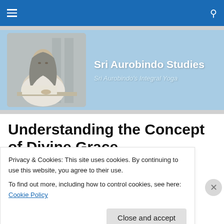Sri Aurobindo Studies — navigation bar with hamburger menu and search icon
[Figure (screenshot): Website header banner showing Sri Aurobindo Studies with a black-and-white photo of Sri Aurobindo writing, on a light blue background. Title reads 'Sri Aurobindo Studies' with subtitle 'Sri Aurobindo's Integral Yoga']
Understanding the Concept of Divine Grace
Privacy & Cookies: This site uses cookies. By continuing to use this website, you agree to their use.
To find out more, including how to control cookies, see here: Cookie Policy
Close and accept